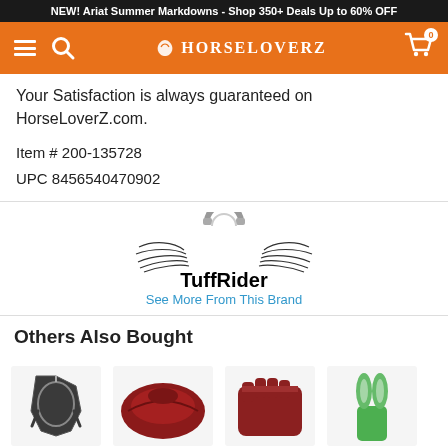NEW! Ariat Summer Markdowns - Shop 350+ Deals Up to 60% OFF
[Figure (logo): HorseLoverZ navigation bar with hamburger menu, search icon, logo, and cart]
Your Satisfaction is always guaranteed on HorseLoverZ.com.
Item # 200-135728
UPC 8456540470902
[Figure (logo): TuffRider brand logo with horseshoe and wings graphic]
See More From This Brand
Others Also Bought
[Figure (photo): Product thumbnails: halter, saddle pad, gloves, and green toy]
Live Chat
TrustedSite